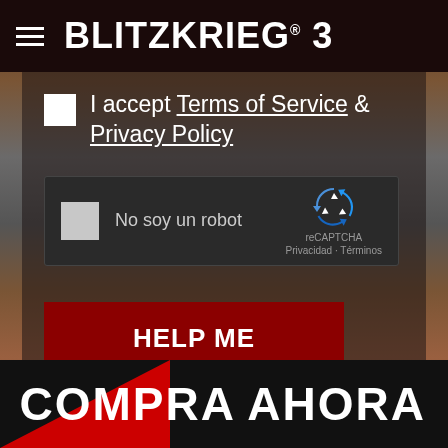BLITZKRIEG® 3
I accept Terms of Service & Privacy Policy
[Figure (screenshot): reCAPTCHA widget with checkbox labeled 'No soy un robot', reCAPTCHA logo, and links to Privacidad and Términos]
HELP ME
COMPRA AHORA